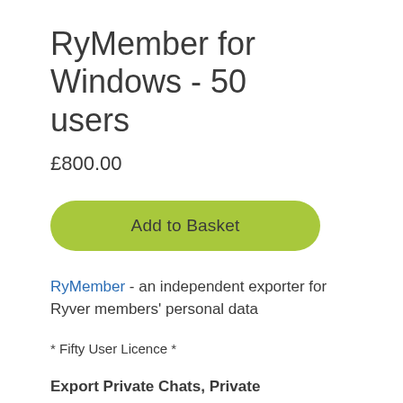RyMember for Windows - 50 users
£800.00
Add to Basket
RyMember - an independent exporter for Ryver members' personal data
* Fifty User Licence *
Export Private Chats, Private